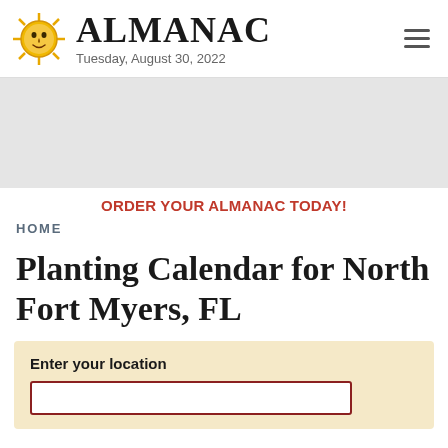ALMANAC — Tuesday, August 30, 2022
[Figure (other): Gray advertisement banner placeholder]
ORDER YOUR ALMANAC TODAY!
HOME
Planting Calendar for North Fort Myers, FL
Enter your location